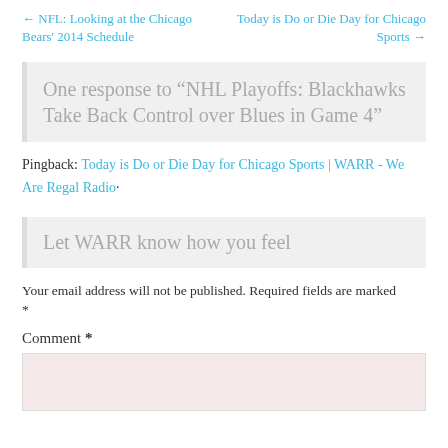← NFL: Looking at the Chicago Bears' 2014 Schedule    Today is Do or Die Day for Chicago Sports →
One response to “NHL Playoffs: Blackhawks Take Back Control over Blues in Game 4”
Pingback: Today is Do or Die Day for Chicago Sports | WARR - We Are Regal Radio·
Let WARR know how you feel
Your email address will not be published. Required fields are marked *
Comment *